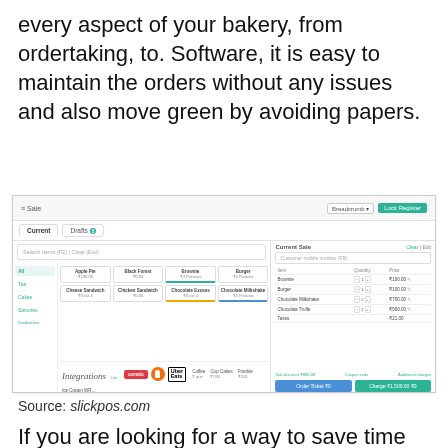every aspect of your bakery, from ordertaking, to. Software, it is easy to maintain the orders without any issues and also move green by avoiding papers.
[Figure (screenshot): Screenshot of slickpos bakery POS software showing menu items (Apple Pie, Black Forest, Brownie, Burger, Cheese Sandwich, Chicken Sandwich, Chocolate Excess, Chocolate Milkshake, Coffee, Cup Cakes, Frankie, Ice Cream WR), category panel, current sale panel with items (Brownie, Burger, Chocolate Milkshake, Chocolate Truffle, Taxes), and integration logos (Zomato, Swiggy, Uber Eats). Action buttons: Order Ticket and Charge.]
Source: slickpos.com
If you are looking for a way to save time while driving revenue growth for your bakery, then count on the bakery